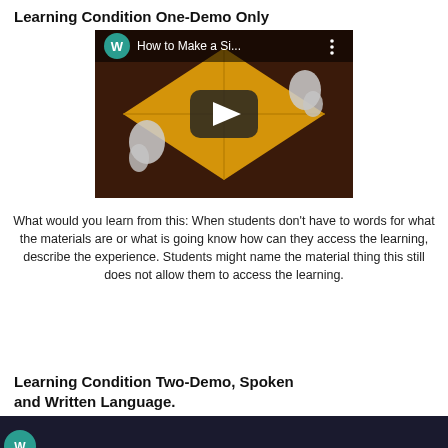Learning Condition One-Demo Only
[Figure (screenshot): YouTube video thumbnail showing hands folding a yellow piece of paper on a wooden table. Title bar reads 'How to Make a Si...' with a W avatar icon in teal and a play button overlay.]
What would you learn from this: When students don't have to words for what the materials are or what is going know how can they access the learning, describe the experience. Students might name the material thing this still does not allow them to access the learning.
Learning Condition Two-Demo, Spoken and Written Language.
[Figure (screenshot): Partial view of another video thumbnail at the bottom of the page.]